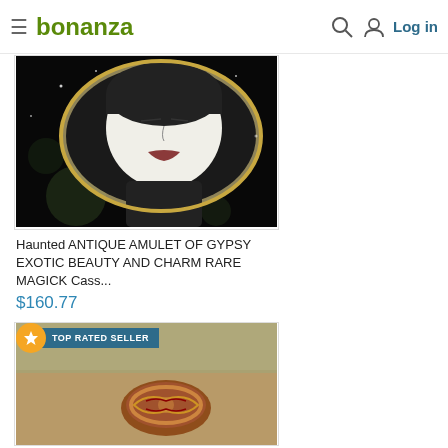bonanza — Log in
[Figure (photo): Dark artistic photo of a face on a reflective surface, possibly a compact mirror or amulet, with bokeh light effects on black background]
Haunted ANTIQUE AMULET OF GYPSY EXOTIC BEAUTY AND CHARM RARE MAGICK Cass...
$160.77
[Figure (photo): TOP RATED SELLER badge overlaying a photo of a decorative ring with arabesque/scroll patterns lying on sandy ground with mossy stone background]